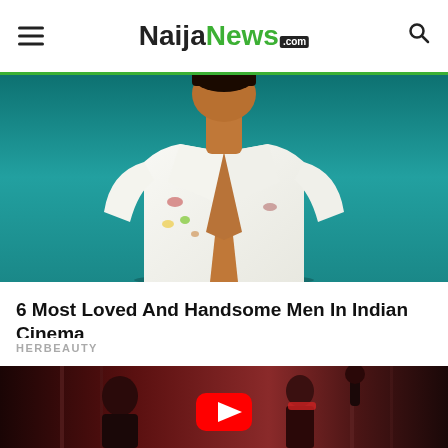NaijaNews.com
[Figure (photo): Man in white open shirt with floral pattern standing against teal/blue background]
6 Most Loved And Handsome Men In Indian Cinema
HERBEAUTY
[Figure (photo): Video thumbnail showing two people in a gym setting with a YouTube play button overlay]